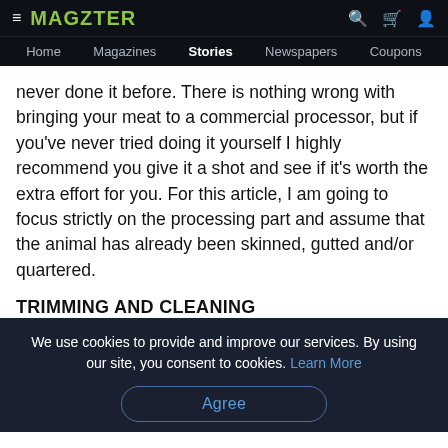MAGZTER — Home  Magazines  Stories  Newspapers  Coupons
never done it before. There is nothing wrong with bringing your meat to a commercial processor, but if you've never tried doing it yourself I highly recommend you give it a shot and see if it's worth the extra effort for you. For this article, I am going to focus strictly on the processing part and assume that the animal has already been skinned, gutted and/or quartered.
TRIMMING AND CLEANING
No matter what part of the animal you are working
We use cookies to provide and improve our services. By using our site, you consent to cookies. Learn More
Agree